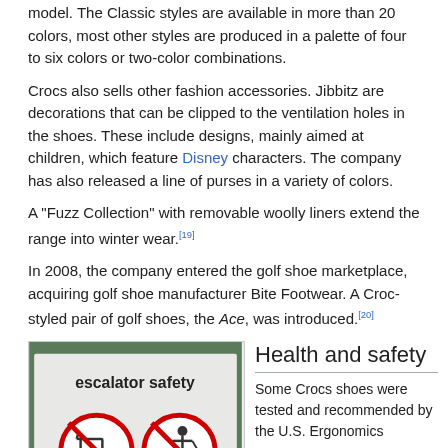model. The Classic styles are available in more than 20 colors, most other styles are produced in a palette of four to six colors or two-color combinations.
Crocs also sells other fashion accessories. Jibbitz are decorations that can be clipped to the ventilation holes in the shoes. These include designs, mainly aimed at children, which feature Disney characters. The company has also released a line of purses in a variety of colors.
A "Fuzz Collection" with removable woolly liners extend the range into winter wear.[19]
In 2008, the company entered the golf shoe marketplace, acquiring golf shoe manufacturer Bite Footwear. A Croc-styled pair of golf shoes, the Ace, was introduced.[20]
[Figure (photo): Photograph of an escalator safety sign showing two prohibition symbols: no shopping carts and no strollers/wheelchairs on escalator.]
Health and safety
Some Crocs shoes were tested and recommended by the U.S. Ergonomics company in 2005[21] and were accepted by the